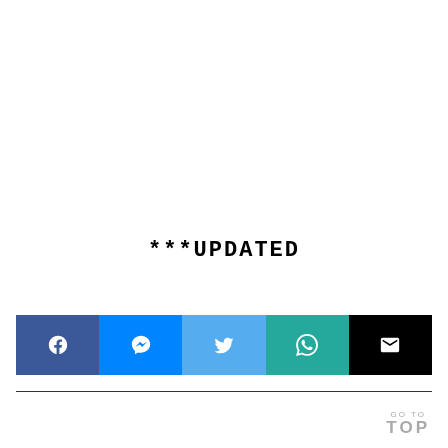***UPDATED
[Figure (other): Social share bar with five buttons: Facebook (dark blue), Messenger (blue), Twitter (light blue), WhatsApp (teal/green), Email (black)]
GO TO TOP